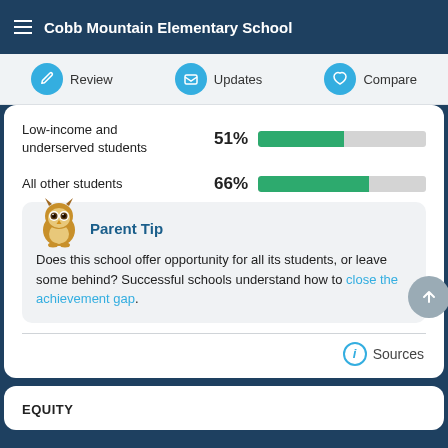Cobb Mountain Elementary School
Review  Updates  Compare
| Category | Percentage | Bar |
| --- | --- | --- |
| Low-income and underserved students | 51% | bar |
| All other students | 66% | bar |
Parent Tip
Does this school offer opportunity for all its students, or leave some behind? Successful schools understand how to close the achievement gap.
Sources